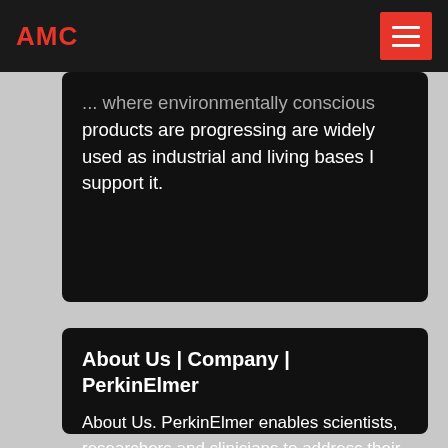AMC
... where environmentally conscious products are progressing are widely used as industrial and living bases I support it.
About Us | Company | PerkinElmer
About Us. PerkinElmer enables scientists, researchers and clinicians to address their most critical challenges across science and healthcare. With a mission focused on innovating for a healthier world, we deliver unique solutions to serve ...